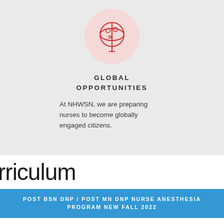[Figure (illustration): Red outline globe icon inside a light pink circle on a gray background]
GLOBAL OPPORTUNITIES
At NHWSN, we are preparing nurses to become globally engaged citizens.
rriculum
POST BSN DNP / POST MN DNP NURSE ANESTHESIA PROGRAM NEW FALL 2022
DNP, NURSE ANESTHESIA PROGRAM